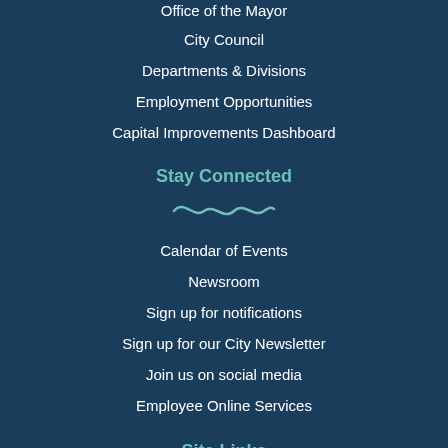Office of the Mayor
City Council
Departments & Divisions
Employment Opportunities
Capital Improvements Dashboard
Stay Connected
Calendar of Events
Newsroom
Sign up for notifications
Sign up for our City Newsletter
Join us on social media
Employee Online Services
Site Links